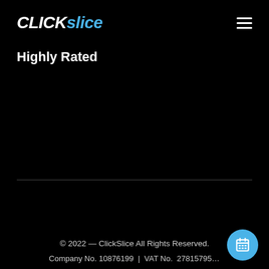CLICKslice
Highly Rated
© 2022 — ClickSlice All Rights Reserved.
Company No. 10876199  |  VAT No.  27815795...